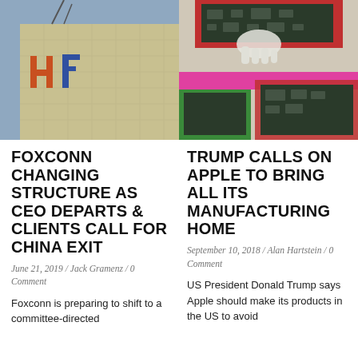[Figure (photo): Building exterior with large H and F letters on the facade, blue sky background]
[Figure (photo): Worker in white gloves handling circuit boards in red and green trays at a manufacturing facility]
FOXCONN CHANGING STRUCTURE AS CEO DEPARTS & CLIENTS CALL FOR CHINA EXIT
June 21, 2019 / Jack Gramenz / 0 Comment
Foxconn is preparing to shift to a committee-directed
TRUMP CALLS ON APPLE TO BRING ALL ITS MANUFACTURING HOME
September 10, 2018 / Alan Hartstein / 0 Comment
US President Donald Trump says Apple should make its products in the US to avoid